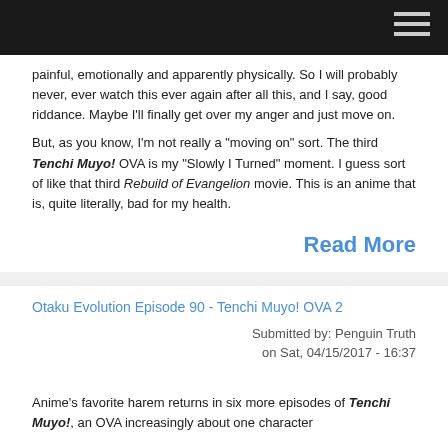painful, emotionally and apparently physically. So I will probably never, ever watch this ever again after all this, and I say, good riddance. Maybe I'll finally get over my anger and just move on.
But, as you know, I'm not really a "moving on" sort. The third Tenchi Muyo! OVA is my "Slowly I Turned" moment. I guess sort of like that third Rebuild of Evangelion movie. This is an anime that is, quite literally, bad for my health.
Read More
Otaku Evolution Episode 90 - Tenchi Muyo! OVA 2
Submitted by: Penguin Truth
on Sat, 04/15/2017 - 16:37
Anime's favorite harem returns in six more episodes of Tenchi Muyo!, an OVA increasingly about one character